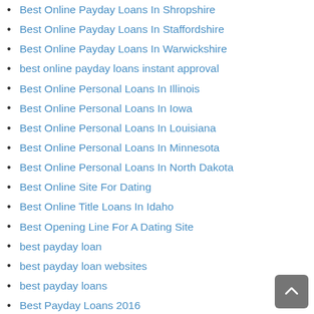Best Online Payday Loans In Shropshire
Best Online Payday Loans In Staffordshire
Best Online Payday Loans In Warwickshire
best online payday loans instant approval
Best Online Personal Loans In Illinois
Best Online Personal Loans In Iowa
Best Online Personal Loans In Louisiana
Best Online Personal Loans In Minnesota
Best Online Personal Loans In North Dakota
Best Online Site For Dating
Best Online Title Loans In Idaho
Best Opening Line For A Dating Site
best payday loan
best payday loan websites
best payday loans
Best Payday Loans 2016
best payday loans for bad credit
Best Payday Loans In Cornwall
Best Payday Loans In Dorset
Best Payday Loans In Durham
Best Payday Loans In Gloucestershire